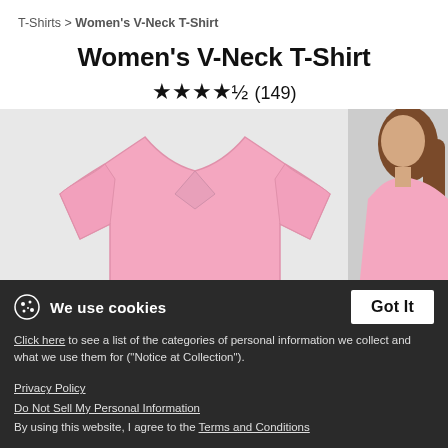T-Shirts > Women's V-Neck T-Shirt
Women's V-Neck T-Shirt
★★★★½ (149)
[Figure (photo): Pink women's v-neck t-shirt product photo on grey background, with partial model wearing pink shirt on right side]
We use cookies
Click here to see a list of the categories of personal information we collect and what we use them for ("Notice at Collection").
Privacy Policy
Do Not Sell My Personal Information
By using this website, I agree to the Terms and Conditions